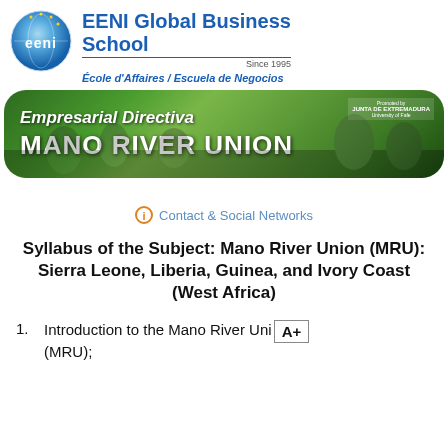[Figure (logo): EENI Global Business School logo: blue globe with eeni text]
EENI Global Business School
Since 1995
École d'Affaires / Escuela de Negocios
[Figure (photo): Banner image showing a conference/presentation scene with text 'Empresarial Directiva MANO RIVER UNION' overlaid]
Contact & Social Networks
Syllabus of the Subject: Mano River Union (MRU): Sierra Leone, Liberia, Guinea, and Ivory Coast (West Africa)
Introduction to the Mano River Union (MRU);